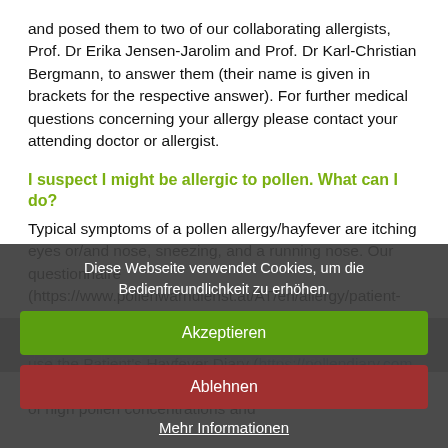and posed them to two of our collaborating allergists, Prof. Dr Erika Jensen-Jarolim and Prof. Dr Karl-Christian Bergmann, to answer them (their name is given in brackets for the respective answer). For further medical questions concerning your allergy please contact your attending doctor or allergist.
I suspect I might be allergic to pollen. What can I do?
Typical symptoms of a pollen allergy/hayfever are itching eyes or/and nose, sneezing, and a running nose. Our questionnaire (https://www.pollenwarndienst.at/AT/en/allergy/patient-questionnaire.html) provides a first assessment of your personal pollen allergy risk. As a second step, you can use the Patient's Hayfever Diary (https://pollendiary.com, "Pollen" app) to check if there is a match between days of high pollen concentrations and
[blurred overlay text - obscured by cookie banner]
Diese Webseite verwendet Cookies, um die Bedienfreundlichkeit zu erhöhen.
Akzeptieren
Ablehnen
Mehr Informationen